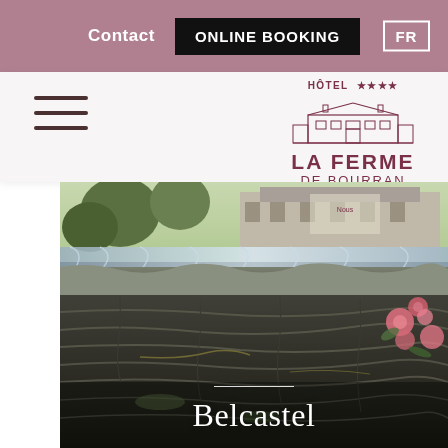Contact | ONLINE BOOKING | FR
[Figure (logo): Hotel La Ferme de Bourran logo with building illustration, 4-star rating, and text 'HOTEL **** LA FERME DE BOURRAN']
[Figure (photo): Close-up photograph of an old stone wall with layered rock texture, small waterfall or water feature visible at the top, pink roses/flowers at the right edge, trees and stone building in background. Text overlay reads 'Belcastel' with a white horizontal line above it.]
Belcastel